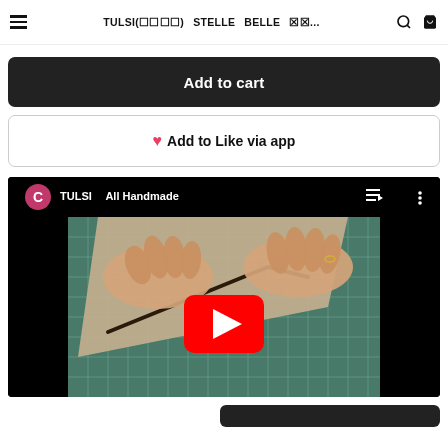≡  TULSI(tulsi)  STELLE  BELLE  ?...  🔍  🛒
Add to cart
♥ Add to Like via app
[Figure (screenshot): YouTube video embed showing 'TULSI All Handmade' channel. Thumbnail shows hands working on leather with a cutting mat, green grid background. Red YouTube play button in center. Video top bar with pink channel icon marked 'C', video title 'TULSI  All Handmade', playlist and menu icons.]